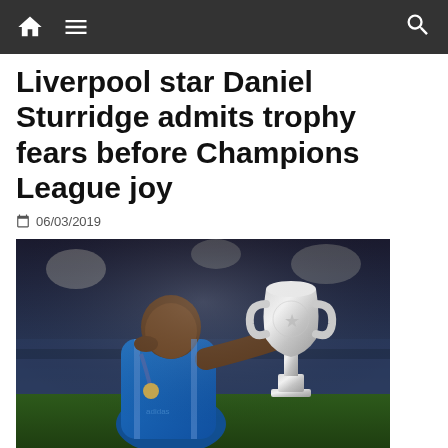Navigation bar with home, menu, and search icons
Liverpool star Daniel Sturridge admits trophy fears before Champions League joy
06/03/2019
[Figure (photo): Daniel Sturridge in a blue Chelsea kit kissing the UEFA Champions League trophy, stadium lights in background]